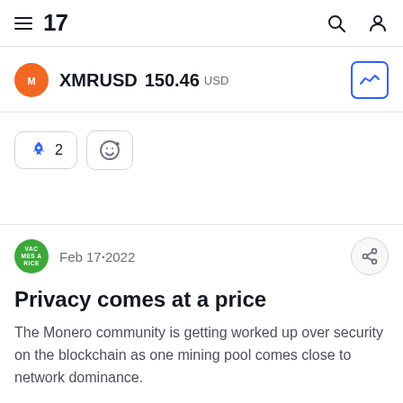TradingView navigation bar with hamburger menu, logo '17', search icon, and user icon
XMRUSD 150.46 USD
[Figure (other): Monero orange circle logo]
[Figure (other): Chart button icon (blue border)]
[Figure (other): Rocket emoji reaction button with count 2, and add-emoji button]
Feb 17, 2022
Privacy comes at a price
The Monero community is getting worked up over security on the blockchain as one mining pool comes close to network dominance.